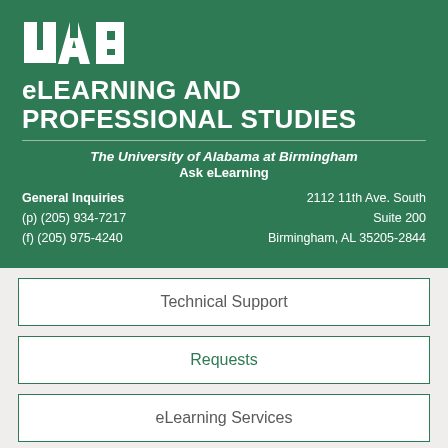[Figure (logo): UAB eLearning and Professional Studies logo with white text on dark green background, including UAB initials, title, university name, Ask eLearning tagline, and contact/address information]
Technical Support
Requests
eLearning Services
State Authentication